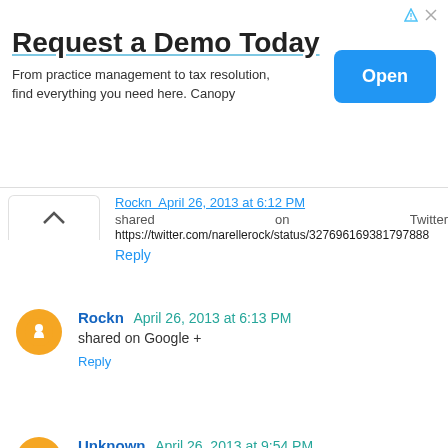[Figure (other): Advertisement banner: 'Request a Demo Today' with subtitle 'From practice management to tax resolution, find everything you need here. Canopy' and an Open button]
Rockn April 26, 2013 at 6:12 PM shared on Twitter https://twitter.com/narellerock/status/327696169381797888
Reply
Rockn April 26, 2013 at 6:13 PM
shared on Google +
Reply
Unknown April 26, 2013 at 9:54 PM
I am following on facebook.
Reply